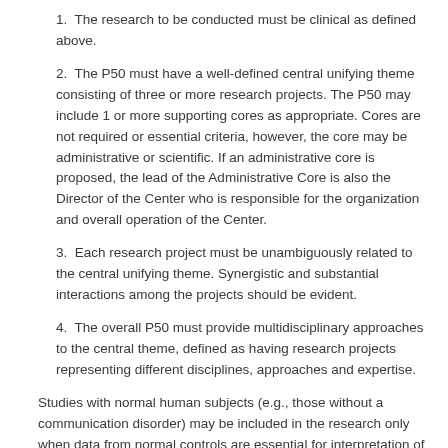1.  The research to be conducted must be clinical as defined above.
2.  The P50 must have a well-defined central unifying theme consisting of three or more research projects. The P50 may include 1 or more supporting cores as appropriate. Cores are not required or essential criteria, however, the core may be administrative or scientific. If an administrative core is proposed, the lead of the Administrative Core is also the Director of the Center who is responsible for the organization and overall operation of the Center.
3.  Each research project must be unambiguously related to the central unifying theme. Synergistic and substantial interactions among the projects should be evident.
4.  The overall P50 must provide multidisciplinary approaches to the central theme, defined as having research projects representing different disciplines, approaches and expertise.
Studies with normal human subjects (e.g., those without a communication disorder) may be included in the research only when data from normal controls are essential for interpretation of the results.
Non-human research will be supported on rare occasions.  Non-human research will generally be limited to one project and only if